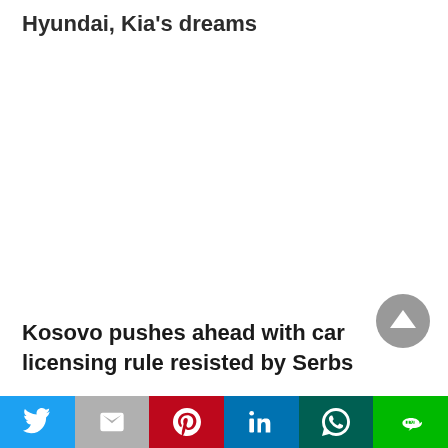Hyundai, Kia's dreams
Kosovo pushes ahead with car licensing rule resisted by Serbs
[Figure (other): Scroll-to-top button, circular grey arrow pointing up]
[Figure (infographic): Social sharing bar with Twitter, Gmail, Pinterest, LinkedIn, WhatsApp, and LINE buttons]